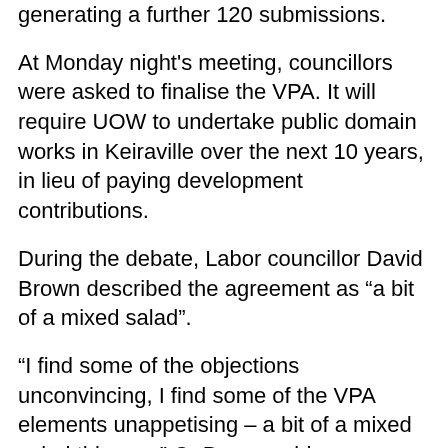generating a further 120 submissions.
At Monday night's meeting, councillors were asked to finalise the VPA. It will require UOW to undertake public domain works in Keiraville over the next 10 years, in lieu of paying development contributions.
During the debate, Labor councillor David Brown described the agreement as “a bit of a mixed salad”.
“I find some of the objections unconvincing, I find some of the VPA elements unappetising – a bit of a mixed salad this one,” Cr Brown said.
“Sadly, much of this debate’s boiling down